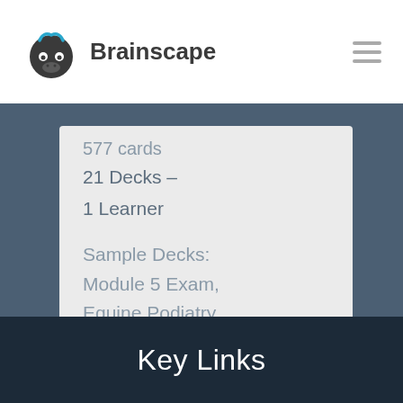Brainscape
577 cards
21 Decks –
1 Learner
Sample Decks: Module 5 Exam, Equine Podiatry, neurology have tos
Key Links